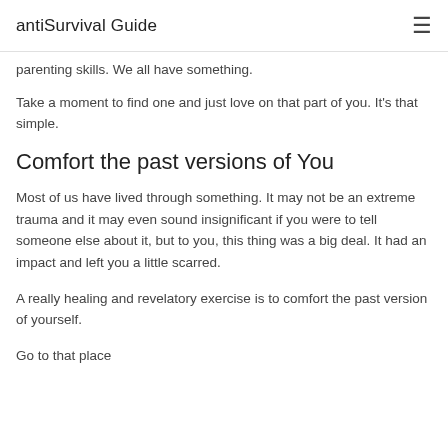antiSurvival Guide
parenting skills. We all have something.
Take a moment to find one and just love on that part of you. It's that simple.
Comfort the past versions of You
Most of us have lived through something. It may not be an extreme trauma and it may even sound insignificant if you were to tell someone else about it, but to you, this thing was a big deal. It had an impact and left you a little scarred.
A really healing and revelatory exercise is to comfort the past version of yourself.
Go to that place...